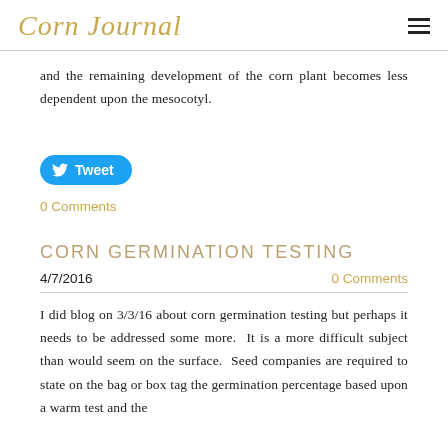Corn Journal
and the remaining development of the corn plant becomes less dependent upon the mesocotyl.
[Figure (other): Tweet button with Twitter bird icon]
0 Comments
CORN GERMINATION TESTING
4/7/2016
0 Comments
I did blog on 3/3/16 about corn germination testing but perhaps it needs to be addressed some more.  It is a more difficult subject than would seem on the surface.  Seed companies are required to state on the bag or box tag the germination percentage based upon a warm test and the